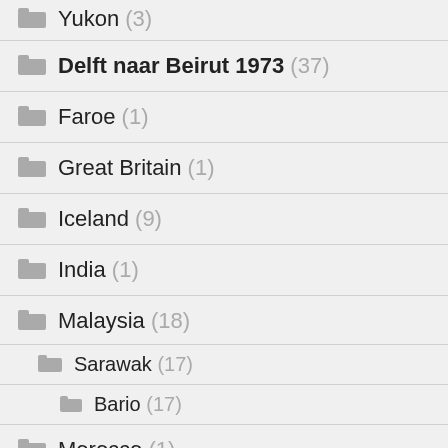Yukon (3)
Delft naar Beirut 1973 (37)
Faroe (1)
Great Britain (1)
Iceland (9)
India (1)
Malaysia (18)
Sarawak (17)
Bario (17)
Morocco (1)